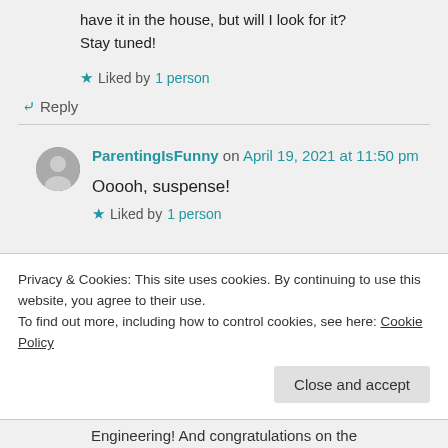have it in the house, but will I look for it? Stay tuned!
★ Liked by 1 person
↪ Reply
ParentingIsFunny on April 19, 2021 at 11:50 pm
Ooooh, suspense!
★ Liked by 1 person
Privacy & Cookies: This site uses cookies. By continuing to use this website, you agree to their use. To find out more, including how to control cookies, see here: Cookie Policy
Close and accept
Engineering! And congratulations on the